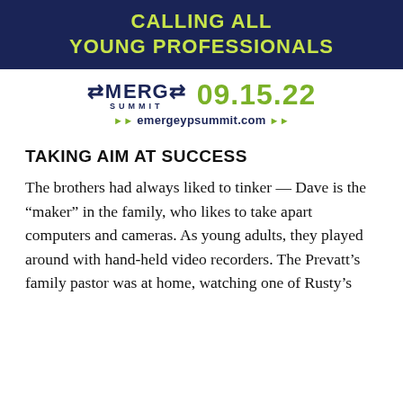[Figure (other): Dark navy banner with lime green bold text reading CALLING ALL YOUNG PROFESSIONALS]
[Figure (logo): EMERGE SUMMIT logo with arrows, beside date 09.15.22 in lime green, and website emergeypsummit.com]
TAKING AIM AT SUCCESS
The brothers had always liked to tinker — Dave is the "maker" in the family, who likes to take apart computers and cameras. As young adults, they played around with hand-held video recorders. The Prevatt's family pastor was at home, watching one of Rusty's